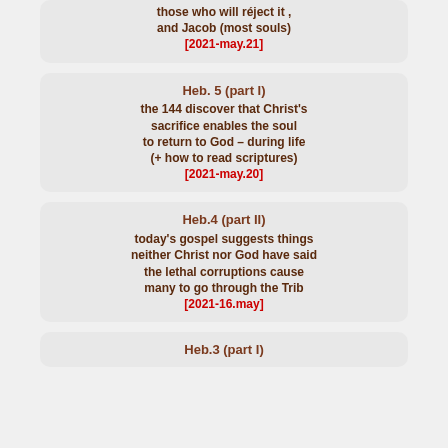(the latter: Yuin theme) , those who will réject it , and Jacob (most souls) [2021-may.21]
Heb. 5 (part I) the 144 discover that Christ’s sacrifice enables the soul to return to God – during life (+ how to read scriptures) [2021-may.20]
Heb.4 (part II) today’s gospel suggests things neither Christ nor God have said the lethal corruptions cause many to go through the Trib [2021-16.may]
Heb.3 (part I)